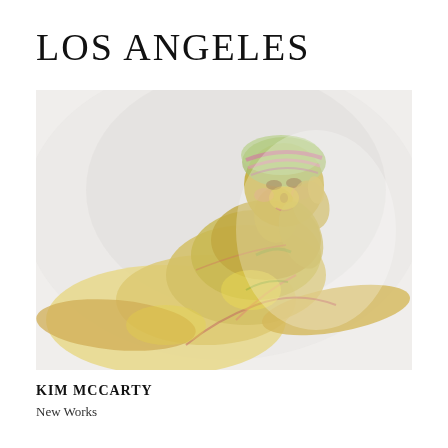LOS ANGELES
[Figure (photo): Watercolor-style artwork photograph of a reclining female figure rendered in translucent yellows, pinks, and greens against a white background. The figure is shown from the torso up, resting on her elbows with one hand raised near her face, wearing a colorful head covering.]
KIM MCCARTY
New Works